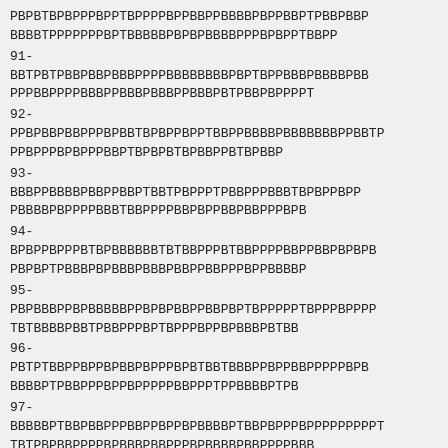PBPBTBPBPPPBPPTBPPPPBPPBBPPBBBBPBPPBBPTPBBPBBP
BBBBTPPPPPPPPBPTBBBBBPBPBPBBBBPPPBPBPPTBBPP
91-
BBTPBTPBBPBBPBBBPPPPBBBBBBBBPBPTBPPBBBPBBBBPBB
PPPBBPPPPBBBPPBBBPBBBPPBBBPBTPBBPBPPPPPT
92-
PPBPBBPBBPPPBPBBTBPBPPBPPTBBPPBBBBPBBBBBBPPBBTP
PPBPPPBPBPPPBBPTBPBPBTBPBBPPBTBPBBP
93-
BBBPPBBBBBPBBPPBBPTBBTPBPPPTPBBPPPBBBTBPBPPBPP
PBBBBPBPPPPBBBTBBPPPPBBPBPPBBPBBPPPBPB
94-
BPBPPBPPPBTBPBBBBBTBTBBPPPBTBBPPPPBBPPBBPBPBPB
PBPBPTPBBBPBPBBBPBBBPBBPPBBPPPBPPBBBBP
95-
PBPBBBPPBPBBBBBPPBPBPBBPPBBPBPTBPPPPTBPPPBPPPP
TBTBBBBPBBTPBBPPPBPTBPPPBPPBPBBBPBTBB
96-
PBTPTBBPPBPPBPBBPBPPPBPBTBBTBBBPPBPPBBPPPPPBPB
BBBBPTPBBPPPBPPBPPPPPBBPPPTPPBBBBPTPB
97-
BBBBBPTBBPBBPPPBBPPBPPBPBBBBPTBBPBPPPBPPPPPPPPT
TBTPBPBBPPPPBPBBBPBBPPPBPBBBBPBBPPPPBBB
98-
TPBBBTBPPBBBTPPTBPPBPBPPPPPPPPPBPBBBBPPPPBBBBBBP